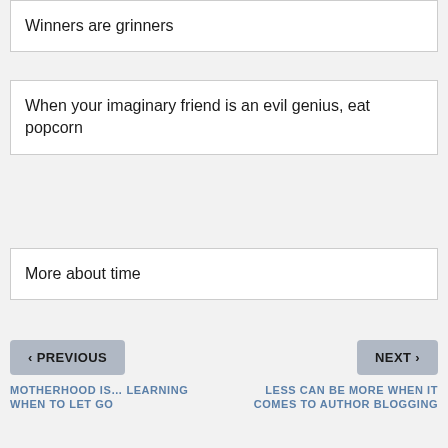Winners are grinners
When your imaginary friend is an evil genius, eat popcorn
More about time
‹ PREVIOUS
NEXT ›
MOTHERHOOD IS… LEARNING WHEN TO LET GO
LESS CAN BE MORE WHEN IT COMES TO AUTHOR BLOGGING